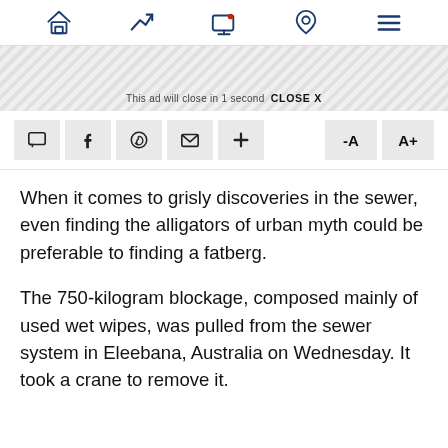Navigation bar with home, trending, notifications, location, menu icons
[Figure (screenshot): Ad banner area with diagonal stripe pattern and close message]
This ad will close in 1 second  CLOSE X
[Figure (screenshot): Toolbar with comment, Facebook, WhatsApp, email, plus, font-decrease, font-increase buttons]
When it comes to grisly discoveries in the sewer, even finding the alligators of urban myth could be preferable to finding a fatberg.
The 750-kilogram blockage, composed mainly of used wet wipes, was pulled from the sewer system in Eleebana, Australia on Wednesday. It took a crane to remove it.